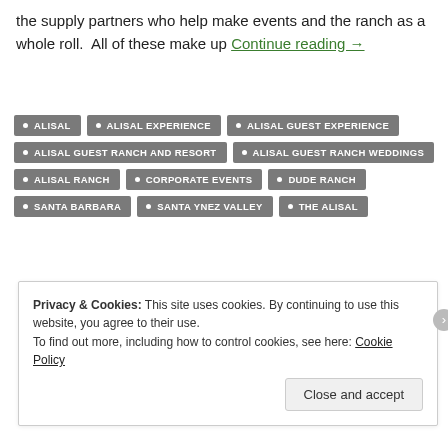the supply partners who help make events and the ranch as a whole roll.  All of these make up Continue reading →
ALISAL
ALISAL EXPERIENCE
ALISAL GUEST EXPERIENCE
ALISAL GUEST RANCH AND RESORT
ALISAL GUEST RANCH WEDDINGS
ALISAL RANCH
CORPORATE EVENTS
DUDE RANCH
SANTA BARBARA
SANTA YNEZ VALLEY
THE ALISAL
OLDER POSTS
Privacy & Cookies: This site uses cookies. By continuing to use this website, you agree to their use. To find out more, including how to control cookies, see here: Cookie Policy
Close and accept